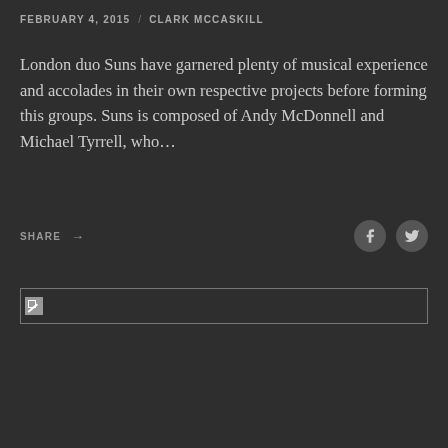FEBRUARY 4, 2015 / CLARK MCCASKILL
London duo Suns have garnered plenty of musical experience and accolades in their own respective projects before forming this groups. Suns is composed of Andy McDonnell and Michael Tyrrell, who…
SHARE →
[Figure (photo): A broken/unloaded image placeholder shown as a small icon with a border box]